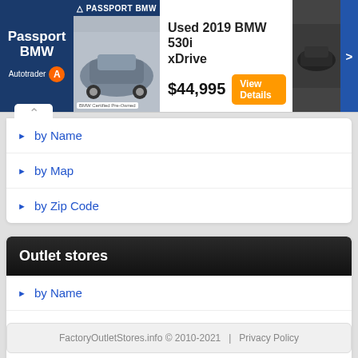[Figure (screenshot): Passport BMW Autotrader advertisement banner showing a Used 2019 BMW 530i xDrive for $44,995 with a View Details button]
by Name
by Map
by Zip Code
Outlet stores
by Name
by Mall
by Zip Code
FactoryOutletStores.info © 2010-2021   |   Privacy Policy